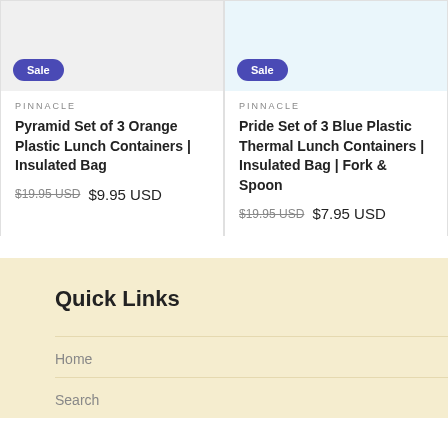[Figure (photo): Orange plastic lunch container product image with a Sale badge on blue/purple rounded pill button]
[Figure (photo): Blue plastic thermal lunch containers with fork and spoon product image with a Sale badge on blue/purple rounded pill button]
PINNACLE
Pyramid Set of 3 Orange Plastic Lunch Containers | Insulated Bag
$19.95 USD  $9.95 USD
PINNACLE
Pride Set of 3 Blue Plastic Thermal Lunch Containers | Insulated Bag | Fork & Spoon
$19.95 USD  $7.95 USD
Quick Links
Home
Search